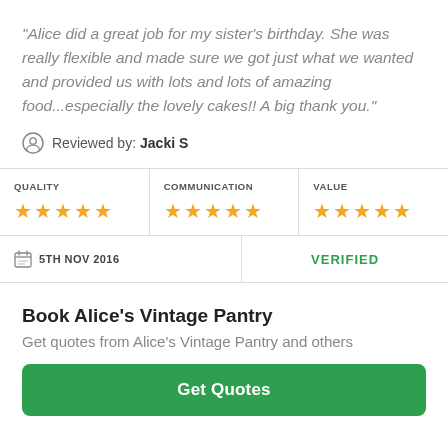“Alice did a great job for my sister’s birthday. She was really flexible and made sure we got just what we wanted and provided us with lots and lots of amazing food...especially the lovely cakes!! A big thank you.”
Reviewed by: Jacki S
| QUALITY | COMMUNICATION | VALUE |
| --- | --- | --- |
| 5 stars | 5 stars | 5 stars |
5TH NOV 2016
VERIFIED
Book Alice’s Vintage Pantry
Get quotes from Alice’s Vintage Pantry and others
Get Quotes